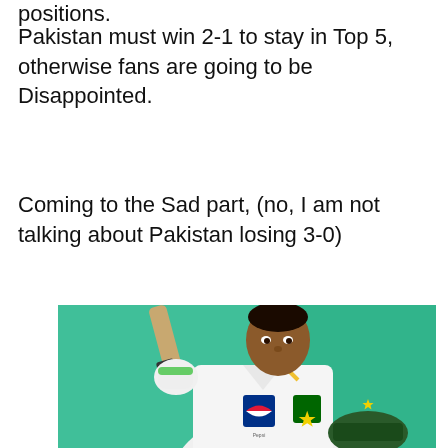positions.
Pakistan must win 2-1 to stay in Top 5, otherwise fans are going to be Disappointed.
Coming to the Sad part, (no, I am not talking about Pakistan losing 3-0)
[Figure (photo): A Pakistani cricket player in white Test cricket uniform with Pepsi logo and Pakistan cricket star badge, holding a bat raised in one hand and a green helmet in the other, against a teal/green background. The player appears to be celebrating.]